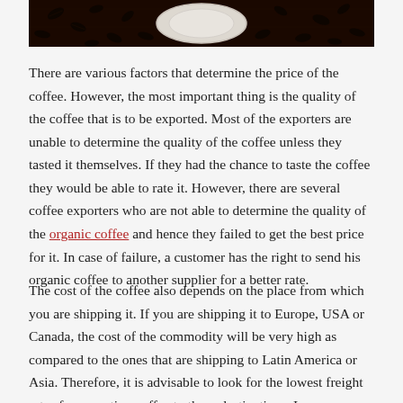[Figure (photo): Coffee beans scattered on a surface with a white plate/saucer in the center]
There are various factors that determine the price of the coffee. However, the most important thing is the quality of the coffee that is to be exported. Most of the exporters are unable to determine the quality of the coffee unless they tasted it themselves. If they had the chance to taste the coffee they would be able to rate it. However, there are several coffee exporters who are not able to determine the quality of the organic coffee and hence they failed to get the best price for it. In case of failure, a customer has the right to send his organic coffee to another supplier for a better rate.
The cost of the coffee also depends on the place from which you are shipping it. If you are shipping it to Europe, USA or Canada, the cost of the commodity will be very high as compared to the ones that are shipping to Latin America or Asia. Therefore, it is advisable to look for the lowest freight rates for exporting coffee to these destinations. In case you are unable to find the lowest freight rates, then you should